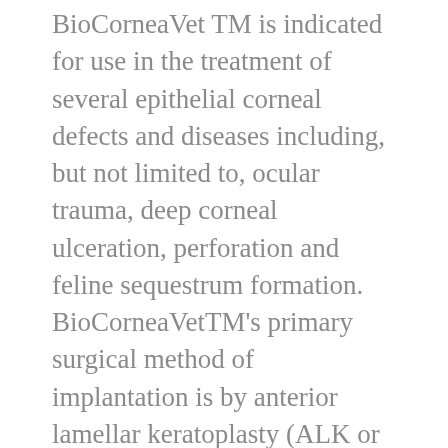BioCorneaVet TM is indicated for use in the treatment of several epithelial corneal defects and diseases including, but not limited to, ocular trauma, deep corneal ulceration, perforation and feline sequestrum formation. BioCorneaVetTM's primary surgical method of implantation is by anterior lamellar keratoplasty (ALK or DALK). When covering corneal defects, BioCorneaVetTM promotes host corneal epithelial regeneration and matrix synthesis. Healing results when the cornea is fully restored in the aspects of structure and function as normal cornea.
Surgical Technique:
1. Preparation before use: Appropriate